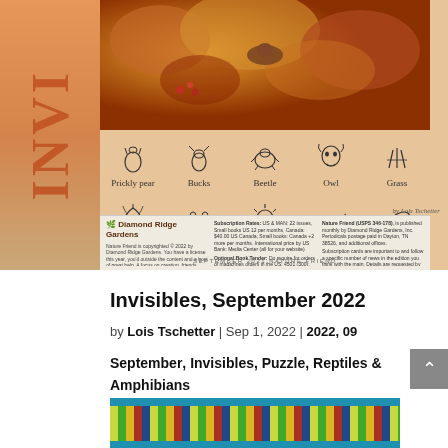[Figure (illustration): Magazine cover/spread showing Nature Friend magazine with autumn wildlife scene (birds, berries) at top, decorative nature icons (Prickly pear, Bucks, Beetle, Owl, Grass, Leaves, Track, Flower, Lizard, Bush) in two rows, publisher info strip at bottom, vertical 'INVI' text on orange gradient left side, by Lois Tschetter]
Invisibles, September 2022
by Lois Tschetter | Sep 1, 2022 | 2022, 09 September, Invisibles, Puzzle, Reptiles & Amphibians